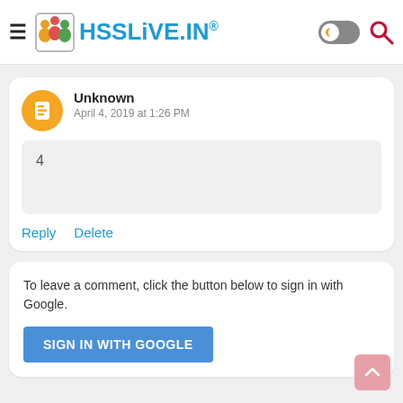HSSLiVE.IN®
Unknown
April 4, 2019 at 1:26 PM
4
Reply   Delete
To leave a comment, click the button below to sign in with Google.
SIGN IN WITH GOOGLE